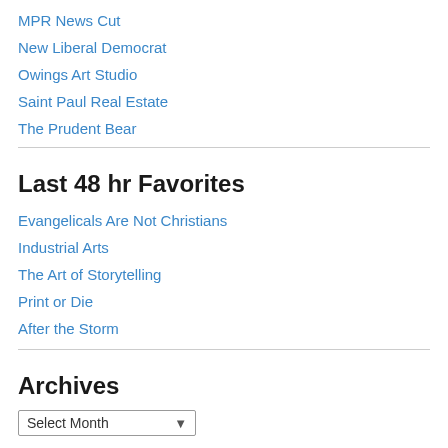MPR News Cut
New Liberal Democrat
Owings Art Studio
Saint Paul Real Estate
The Prudent Bear
Last 48 hr Favorites
Evangelicals Are Not Christians
Industrial Arts
The Art of Storytelling
Print or Die
After the Storm
Archives
Select Month